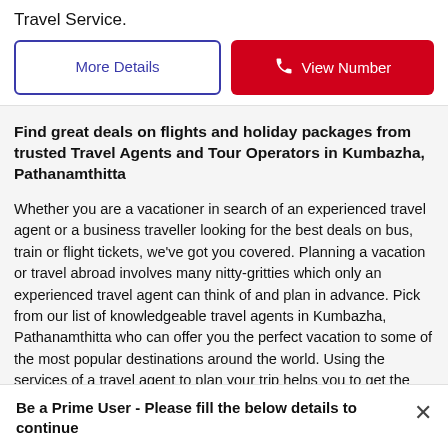Travel Service.
More Details
View Number
Find great deals on flights and holiday packages from trusted Travel Agents and Tour Operators in Kumbazha, Pathanamthitta
Whether you are a vacationer in search of an experienced travel agent or a business traveller looking for the best deals on bus, train or flight tickets, we've got you covered. Planning a vacation or travel abroad involves many nitty-gritties which only an experienced travel agent can think of and plan in advance. Pick from our list of knowledgeable travel agents in Kumbazha, Pathanamthitta who can offer you the perfect vacation to some of the most popular destinations around the world. Using the services of a travel agent to plan your trip helps you to get the best
Be a Prime User - Please fill the below details to continue